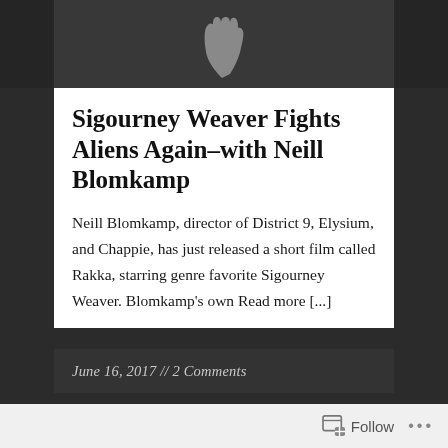[Figure (photo): Dark background image with a hand silhouette visible, serving as header image for article.]
Sigourney Weaver Fights Aliens Again–with Neill Blomkamp
Neill Blomkamp, director of District 9, Elysium, and Chappie, has just released a short film called Rakka, starring genre favorite Sigourney Weaver. Blomkamp's own Read more [...]
June 16, 2017 // 2 Comments
[Figure (photo): Scene from a film or video showing a person in a black t-shirt near a white mantelpiece with red graffiti reading GET OUT]
Follow ...